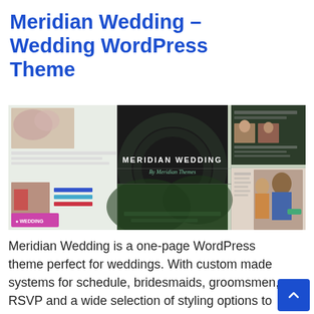Meridian Wedding – Wedding WordPress Theme
[Figure (screenshot): Collage screenshot of Meridian Wedding WordPress theme showing multiple page layouts including a dark central panel reading 'MERIDIAN WEDDING By Meridian Themes', various wedding site pages with photos of couples and bridal party, and a pink 'WEDDING' badge in the lower left corner.]
Meridian Wedding is a one-page WordPress theme perfect for weddings. With custom made systems for schedule, bridesmaids, groomsmen, RSVP and a wide selection of styling options to adjust without writing a single